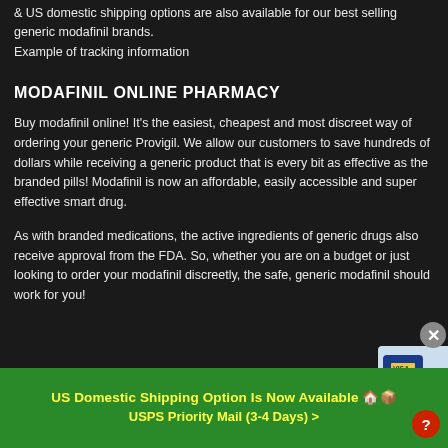& US domestic shipping options are also available for our best selling generic modafinil brands.
Example of tracking information
MODAFINIL ONLINE PHARMACY
Buy modafinil online! It's the easiest, cheapest and most discreet way of ordering your generic Provigil. We allow our customers to save hundreds of dollars while receiving a generic product that is every bit as effective as the branded pills! Modafinil is now an affordable, easily accessible and super effective smart drug.
As with branded medications, the active ingredients of generic drugs also receive approval from the FDA. So, whether you are on a budget or just looking to order your modafinil discreetly, the safe, generic modafinil should work for you!
SECURE SSL PAYMENTS
US Domestic Shipping Option Is Now Available 🏠📦
USPS Priority Mail (3-4 Days) >